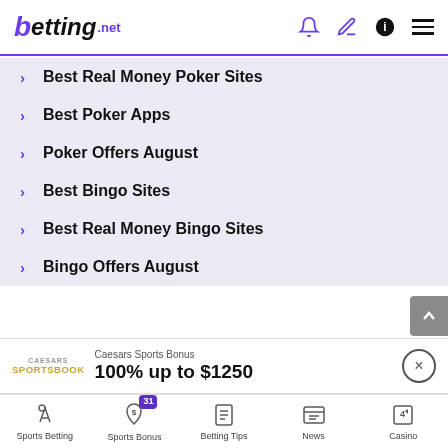betting.net
Best Real Money Poker Sites
Best Poker Apps
Poker Offers August
Best Bingo Sites
Best Real Money Bingo Sites
Bingo Offers August
[Figure (other): Circular plus/expand button with purple outline]
Players must be 21 years of age or older or reach the minimum age for gambling in their respective state and located in jurisdictions where
[Figure (other): Caesars Sportsbook promotional banner: 100% up to $1250]
Sports Betting | Sports Bonus (31) | Betting Tips | News | Casino